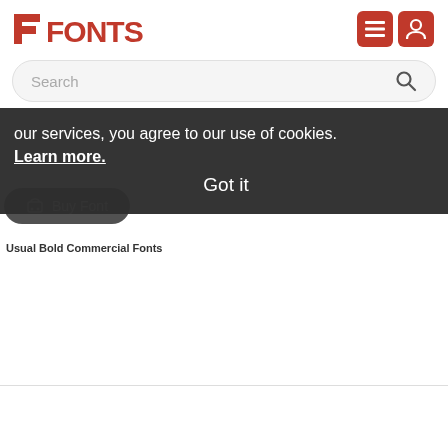[Figure (logo): 1FONTS logo with red square bracket icon and red bold text]
[Figure (screenshot): Two red square icon buttons for menu and user account in the header]
Search
our services, you agree to our use of cookies. Learn more.
Got it
Buy Font
Usual Bold Commercial Fonts